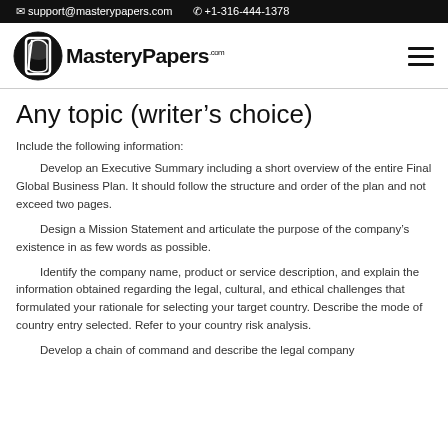✉ support@masterypapers.com   📞 +1-316-444-1378
[Figure (logo): MasteryPapers.com logo with circular icon on left and bold text on right]
Any topic (writer's choice)
Include the following information:
Develop an Executive Summary including a short overview of the entire Final Global Business Plan. It should follow the structure and order of the plan and not exceed two pages.
Design a Mission Statement and articulate the purpose of the company's existence in as few words as possible.
Identify the company name, product or service description, and explain the information obtained regarding the legal, cultural, and ethical challenges that formulated your rationale for selecting your target country. Describe the mode of country entry selected. Refer to your country risk analysis.
Develop a chain of command and describe the legal company